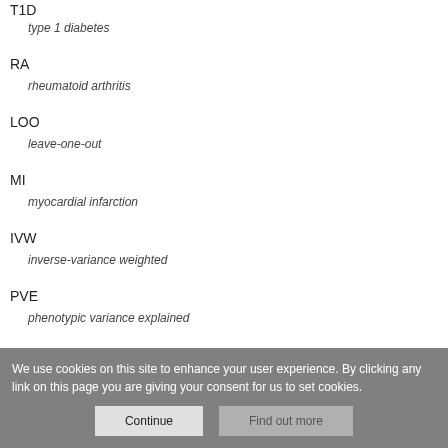T1D
type 1 diabetes
RA
rheumatoid arthritis
LOO
leave-one-out
MI
myocardial infarction
IVW
inverse-variance weighted
PVE
phenotypic variance explained
We use cookies on this site to enhance your user experience. By clicking any link on this page you are giving your consent for us to set cookies.